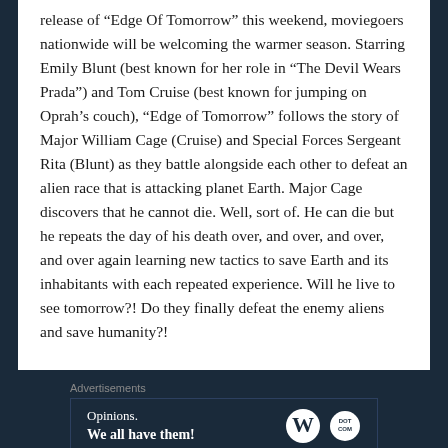release of “Edge Of Tomorrow” this weekend, moviegoers nationwide will be welcoming the warmer season. Starring Emily Blunt (best known for her role in “The Devil Wears Prada”) and Tom Cruise (best known for jumping on Oprah’s couch), “Edge of Tomorrow” follows the story of Major William Cage (Cruise) and Special Forces Sergeant Rita (Blunt) as they battle alongside each other to defeat an alien race that is attacking planet Earth. Major Cage discovers that he cannot die. Well, sort of. He can die but he repeats the day of his death over, and over, and over, and over again learning new tactics to save Earth and its inhabitants with each repeated experience. Will he live to see tomorrow?! Do they finally defeat the enemy aliens and save humanity?!
Advertisements
[Figure (other): WordPress advertisement banner with text 'Opinions. We all have them!' and WordPress (W) logo and a circular dotcom logo on dark navy background]